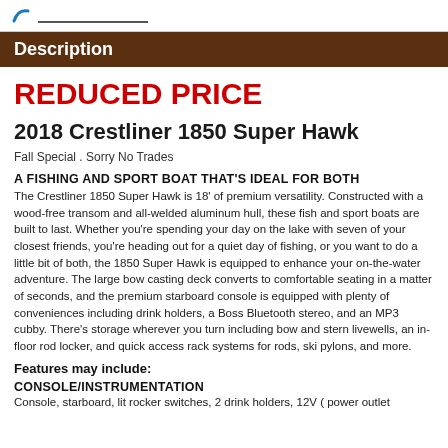Description
REDUCED PRICE
2018 Crestliner 1850 Super Hawk
Fall Special . Sorry No Trades
A FISHING AND SPORT BOAT THAT'S IDEAL FOR BOTH
The Crestliner 1850 Super Hawk is 18' of premium versatility. Constructed with a wood-free transom and all-welded aluminum hull, these fish and sport boats are built to last. Whether you're spending your day on the lake with seven of your closest friends, you're heading out for a quiet day of fishing, or you want to do a little bit of both, the 1850 Super Hawk is equipped to enhance your on-the-water adventure. The large bow casting deck converts to comfortable seating in a matter of seconds, and the premium starboard console is equipped with plenty of conveniences including drink holders, a Boss Bluetooth stereo, and an MP3 cubby. There's storage wherever you turn including bow and stern livewells, an in-floor rod locker, and quick access rack systems for rods, ski pylons, and more.
Features may include:
CONSOLE/INSTRUMENTATION
Console, starboard, lit rocker switches, 2 drink holders, 12V power outlet